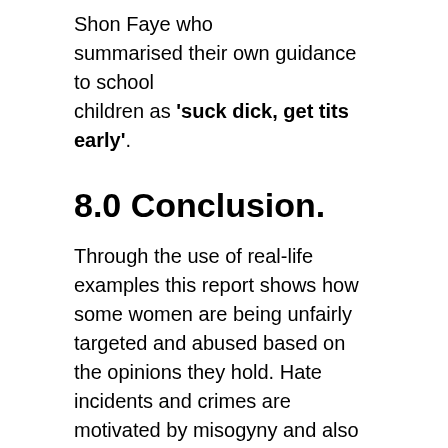Shon Faye who summarised their own guidance to school children as 'suck dick, get tits early'.
8.0 Conclusion.
Through the use of real-life examples this report shows how some women are being unfairly targeted and abused based on the opinions they hold. Hate incidents and crimes are motivated by misogyny and also homophobia. The result being that some women's voices are being silenced through fear, shame and rejection in the current debate on sex and gender. This means laws may be changed without their opinions being considered despite women being